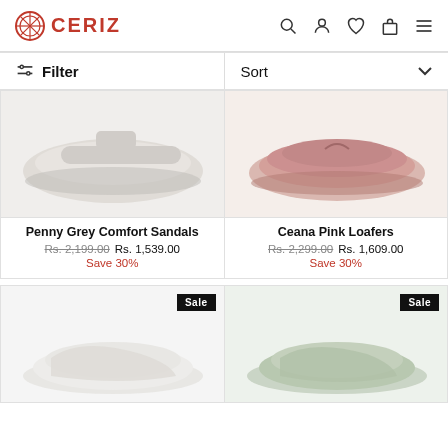CERIZ
Filter | Sort
[Figure (photo): Penny Grey Comfort Sandals product photo - grey sandal on white background]
[Figure (photo): Ceana Pink Loafers product photo - pink loafer on white background]
Penny Grey Comfort Sandals
Rs. 2,199.00  Rs. 1,539.00
Save 30%
Ceana Pink Loafers
Rs. 2,299.00  Rs. 1,609.00
Save 30%
[Figure (photo): Product photo bottom left - white/cream shoe, Sale badge]
[Figure (photo): Product photo bottom right - green/sage shoe, Sale badge]